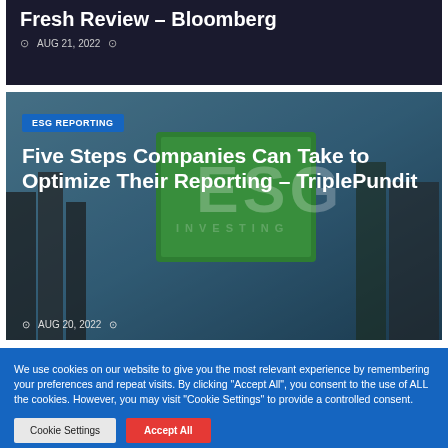Fresh Review – Bloomberg
AUG 21, 2022
[Figure (screenshot): Article card with dark city background showing 'ESG REPORTING' badge and article title 'Five Steps Companies Can Take to Optimize Their Reporting – TriplePundit' overlaid on a green-tinted cityscape with ESG investing watermark text]
AUG 20, 2022
We use cookies on our website to give you the most relevant experience by remembering your preferences and repeat visits. By clicking "Accept All", you consent to the use of ALL the cookies. However, you may visit "Cookie Settings" to provide a controlled consent.